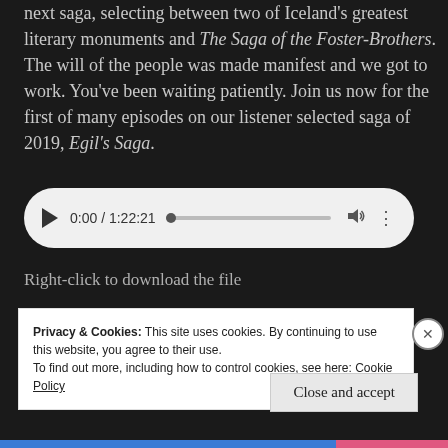next saga, selecting between two of Iceland's greatest literary monuments and The Saga of the Foster-Brothers. The will of the people was made manifest and we got to work. You've been waiting patiently. Join us now for the first of many episodes on our listener selected saga of 2019, Egil's Saga.
[Figure (other): Audio player widget showing 0:00 / 1:22:21 with play button, progress bar, volume and options icons]
Right-click to download the file
Privacy & Cookies: This site uses cookies. By continuing to use this website, you agree to their use.
To find out more, including how to control cookies, see here: Cookie Policy
Close and accept